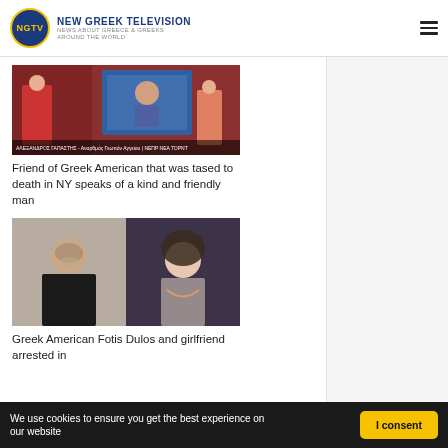NGTV NEW GREEK TELEVISION NEWS ABOUT GREECE & GREEKS AROUND THE WORLD
[Figure (screenshot): TV broadcast still showing a news anchor woman in red dress and a man being interviewed on screen, with Greek text caption at bottom]
Friend of Greek American that was tased to death in NY speaks of a kind and friendly man
[Figure (photo): Two photos side by side: a middle-aged man with short grey-brown hair against a neutral background, and a smiling woman with long dark hair]
Greek American Fotis Dulos and girlfriend arrested in
We use cookies to ensure you get the best experience on our website